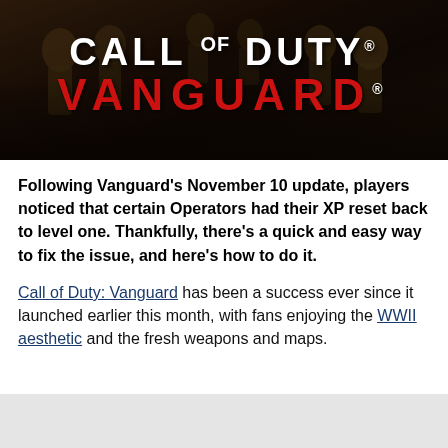[Figure (illustration): Call of Duty: Vanguard game logo over a dark background with soldiers. White text reads 'CALL OF DUTY' and red text reads 'VANGUARD'.]
Following Vanguard's November 10 update, players noticed that certain Operators had their XP reset back to level one. Thankfully, there's a quick and easy way to fix the issue, and here's how to do it.
Call of Duty: Vanguard has been a success ever since it launched earlier this month, with fans enjoying the WWII aesthetic and the fresh weapons and maps.